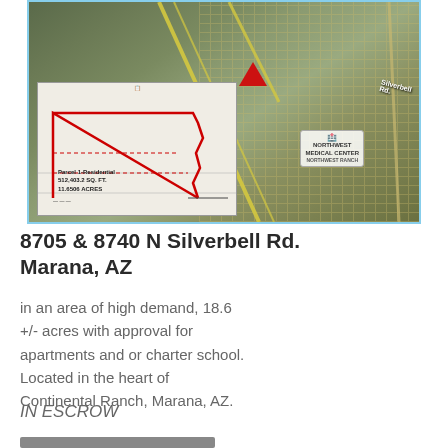[Figure (map): Aerial/satellite map showing 8705 & 8740 N Silverbell Rd, Marana AZ with red triangle marker and an inset parcel map showing Parcel 1 Residential 512,403.2 SQ. FT. 11.6506 ACRES with red boundary lines. Northwest Medical Center visible on map.]
8705 & 8740 N Silverbell Rd. Marana, AZ
in an area of high demand, 18.6 +/- acres with approval for apartments and or charter school. Located in the heart of Continental Ranch, Marana, AZ.
IN ESCROW